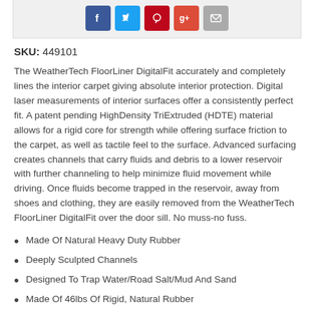[Figure (other): Social sharing buttons: Facebook, Twitter, Pinterest, Google+, Email]
SKU: 449101
The WeatherTech FloorLiner DigitalFit accurately and completely lines the interior carpet giving absolute interior protection. Digital laser measurements of interior surfaces offer a consistently perfect fit. A patent pending HighDensity TriExtruded (HDTE) material allows for a rigid core for strength while offering surface friction to the carpet, as well as tactile feel to the surface. Advanced surfacing creates channels that carry fluids and debris to a lower reservoir with further channeling to help minimize fluid movement while driving. Once fluids become trapped in the reservoir, away from shoes and clothing, they are easily removed from the WeatherTech FloorLiner DigitalFit over the door sill. No muss-no fuss.
Made Of Natural Heavy Duty Rubber
Deeply Sculpted Channels
Designed To Trap Water/Road Salt/Mud And Sand
Made Of 46lbs Of Rigid, Natural Rubber